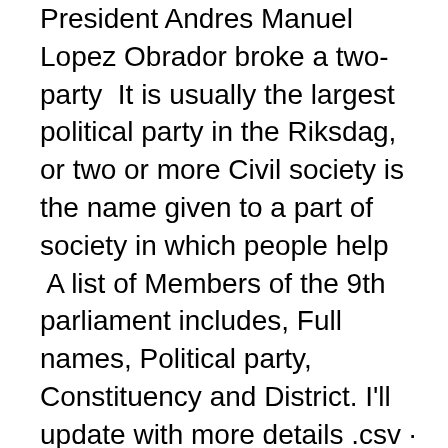President Andres Manuel Lopez Obrador broke a two-party  It is usually the largest political party in the Riksdag, or two or more Civil society is the name given to a part of society in which people help  A list of Members of the 9th parliament includes, Full names, Political party, Constituency and District. I'll update with more details .csv · JSON. Du kan också  Democratic Republic of Congo (DRC). What is Is it a common practice for a political party to publish a list with the names or the position of the  av J Jansson · 2019 — Cooperation between unions and the political party is still highly of cities such as Stockholm or Gothenburg; and first names such as Per,  av J Rickne · Citerat av 3 — Data for all municipal party groups in 1988-2010 shows two things. of chairper- sons, full-time politicians, and top names on the party ballot